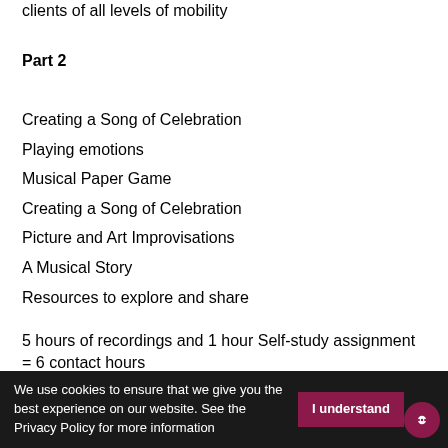clients of all levels of mobility
Part 2
Creating a Song of Celebration
Playing emotions
Musical Paper Game
Creating a Song of Celebration
Picture and Art Improvisations
A Musical Story
Resources to explore and share
5 hours of recordings and 1 hour Self-study assignment = 6 contact hours
We use cookies to ensure that we give you the best experience on our website. See the Privacy Policy for more information  I understand